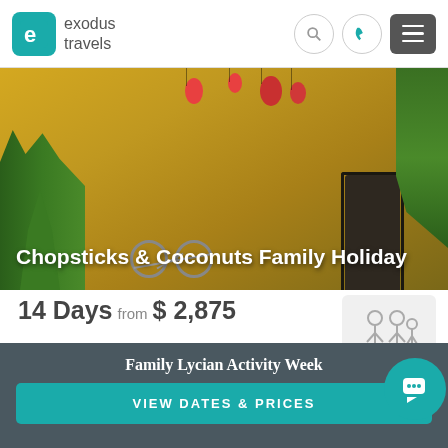[Figure (screenshot): Exodus Travels website header with teal logo, search icon, phone icon, and hamburger menu]
[Figure (photo): Vietnamese street scene with yellow wall, lanterns, bicycle, and plants. Title overlay: Chopsticks & Coconuts Family Holiday]
Chopsticks & Coconuts Family Holiday
14 Days from $ 2,875
Experience Vietnam from north and south
[Figure (illustration): Family icon (adults and child silhouettes) labeled Fam with teal chat bubble overlay]
Family Lycian Activity Week
VIEW DATES & PRICES